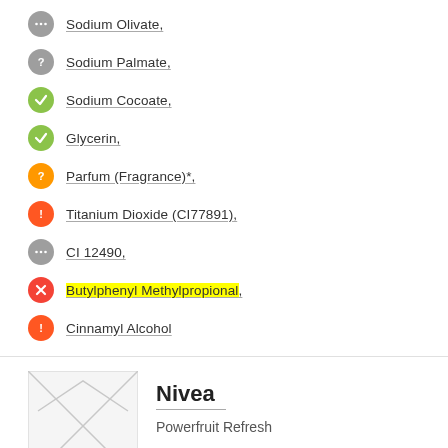Sodium Olivate,
Sodium Palmate,
Sodium Cocoate,
Glycerin,
Parfum (Fragrance)*,
Titanium Dioxide (CI77891),
CI 12490,
Butylphenyl Methylpropional,
Cinnamyl Alcohol
[Figure (photo): Product image placeholder (envelope/cross placeholder graphic)]
Nivea
Powerfruit Refresh